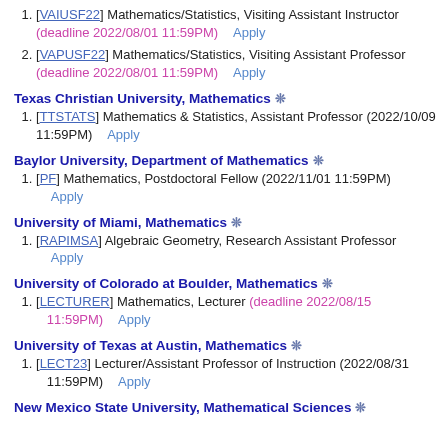[VAIUSF22] Mathematics/Statistics, Visiting Assistant Instructor (deadline 2022/08/01 11:59PM)   Apply
[VAPUSF22] Mathematics/Statistics, Visiting Assistant Professor (deadline 2022/08/01 11:59PM)   Apply
Texas Christian University, Mathematics *
[TTSTATS] Mathematics & Statistics, Assistant Professor (2022/10/09 11:59PM)   Apply
Baylor University, Department of Mathematics *
[PF] Mathematics, Postdoctoral Fellow (2022/11/01 11:59PM) Apply
University of Miami, Mathematics *
[RAPIMSA] Algebraic Geometry, Research Assistant Professor Apply
University of Colorado at Boulder, Mathematics *
[LECTURER] Mathematics, Lecturer (deadline 2022/08/15 11:59PM)   Apply
University of Texas at Austin, Mathematics *
[LECT23] Lecturer/Assistant Professor of Instruction (2022/08/31 11:59PM)   Apply
New Mexico State University, Mathematical Sciences *